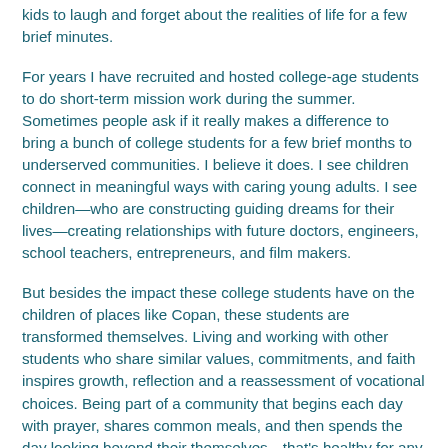kids to laugh and forget about the realities of life for a few brief minutes.
For years I have recruited and hosted college-age students to do short-term mission work during the summer. Sometimes people ask if it really makes a difference to bring a bunch of college students for a few brief months to underserved communities. I believe it does. I see children connect in meaningful ways with caring young adults. I see children—who are constructing guiding dreams for their lives—creating relationships with future doctors, engineers, school teachers, entrepreneurs, and film makers.
But besides the impact these college students have on the children of places like Copan, these students are transformed themselves. Living and working with other students who share similar values, commitments, and faith inspires growth, reflection and a reassessment of vocational choices. Being part of a community that begins each day with prayer, shares common meals, and then spends the day looking beyond their themselves—that's healthy for any 21 year old.
My son will leave Honduras a better person. He will return to his college campus stronger in his faith, a bigger vision for his life, and with a new network of some really great friends. Nothing could make a parent